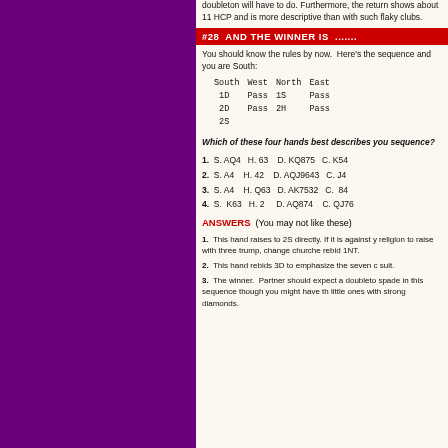doubleton will have to do. Furthermore, the return shows about 11 HCP and is more descriptive than with such flaky clubs.
#28  AND THE WINNER IS  .......
You should know the rules by now.  Here's the sequence and you are South:
| South | West | North | East |
| --- | --- | --- | --- |
| 1D | Pass | 1S | Pass |
| 2D | Pass | 2H | Pass |
| 2S |  |  |  |
Which of these four hands best describes your sequence?
1.  S. AQ4   H. 63    D. KQ875   C. K54
2.  S. A4    H. 42    D. AQJ9643   C. J4
3.  S. A4    H. Q63   D. AK7532   C.  84
4.  S.  K63   H. 2    D. AQ874    C. QJ76
ANSWERS  (You may not like these)
1.  This hand raises to 2S directly. If it is against your religion to raise with three trump, change churches or rebid 1NT.
2.  This hand rebids 3D to emphasize the seven card suit.
3.  The winner.  Partner should expect a doubleton spade in this sequence though you might have three little ones with strong diamonds.